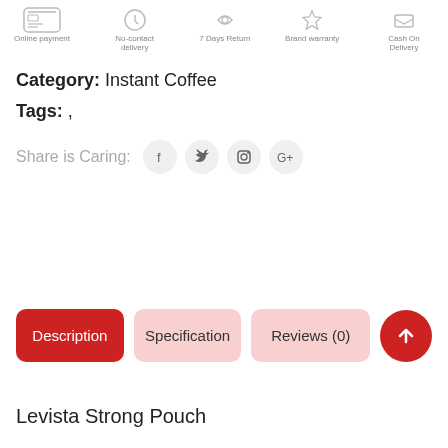[Figure (infographic): Top bar showing product delivery/policy icons: Non-Returnable, No-contact delivery, 7 Days Return, Brand warranty, Cash On Delivery, Online payment (with credit card icon shown)]
Category: Instant Coffee
Tags: ,
Share is Caring:
[Figure (infographic): Social sharing icons: Facebook, Twitter, Instagram, Google+]
Description | Specification | Reviews (0)
Levista Strong Pouch